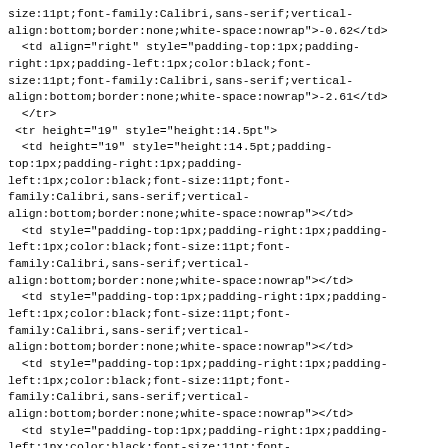size:11pt;font-family:Calibri,sans-serif;vertical-align:bottom;border:none;white-space:nowrap">-0.62</td>
  <td align="right" style="padding-top:1px;padding-right:1px;padding-left:1px;color:black;font-size:11pt;font-family:Calibri,sans-serif;vertical-align:bottom;border:none;white-space:nowrap">-2.61</td>
  </tr>
 <tr height="19" style="height:14.5pt">
  <td height="19" style="height:14.5pt;padding-top:1px;padding-right:1px;padding-left:1px;color:black;font-size:11pt;font-family:Calibri,sans-serif;vertical-align:bottom;border:none;white-space:nowrap"></td>
  <td style="padding-top:1px;padding-right:1px;padding-left:1px;color:black;font-size:11pt;font-family:Calibri,sans-serif;vertical-align:bottom;border:none;white-space:nowrap"></td>
  <td style="padding-top:1px;padding-right:1px;padding-left:1px;color:black;font-size:11pt;font-family:Calibri,sans-serif;vertical-align:bottom;border:none;white-space:nowrap"></td>
  <td style="padding-top:1px;padding-right:1px;padding-left:1px;color:black;font-size:11pt;font-family:Calibri,sans-serif;vertical-align:bottom;border:none;white-space:nowrap"></td>
  <td style="padding-top:1px;padding-right:1px;padding-left:1px;color:black;font-size:11pt;font-family:Calibri,sans-serif;vertical-align:bottom;border:none;white-space:nowrap"></td>
  <td style="padding-top:1px;padding-right:1px;padding-